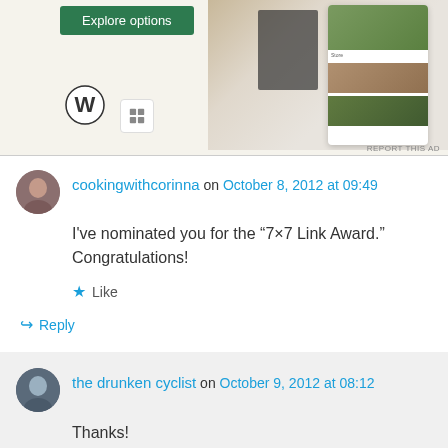[Figure (screenshot): WordPress advertisement banner with 'Explore options' green button, WordPress logo, and food/recipe website screenshots on the right side]
REPORT THIS AD
cookingwithcorinna on October 8, 2012 at 09:49
I've nominated you for the “7×7 Link Award.” Congratulations!
★ Like
↵ Reply
the drunken cyclist on October 9, 2012 at 08:12
Thanks!